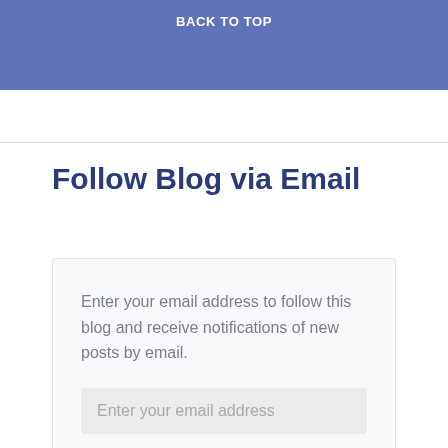assaulted.Upon arrival, first responders located a man who appeared to be suffering from life [...]
BACK TO TOP
Follow Blog via Email
Enter your email address to follow this blog and receive notifications of new posts by email.
Enter your email address
FOLLOW